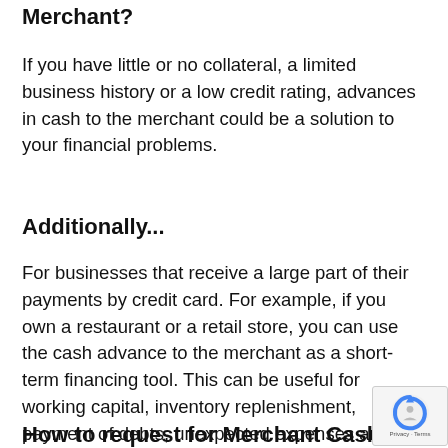Merchant?
If you have little or no collateral, a limited business history or a low credit rating, advances in cash to the merchant could be a solution to your financial problems.
Additionally...
For businesses that receive a large part of their payments by credit card. For example, if you own a restaurant or a retail store, you can use the cash advance to the merchant as a short-term financing tool. This can be useful for working capital, inventory replenishment, payment of debts, unexpected expenses and more.
How to request for Merchant Cash